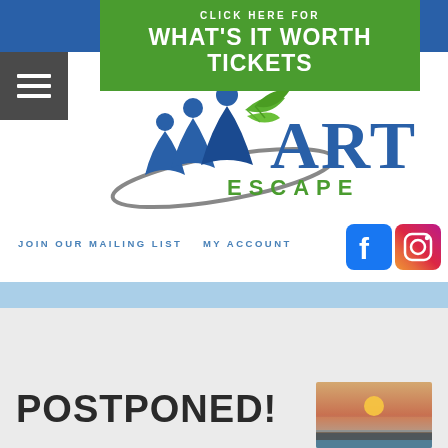[Figure (logo): Blue banner background at top]
CLICK HERE FOR
WHAT'S IT WORTH TICKETS
[Figure (logo): Arts Escape logo with stylized figures and leaf, blue and green colors]
JOIN OUR MAILING LIST   MY ACCOUNT
[Figure (logo): Facebook and Instagram social media icons]
POSTPONED!